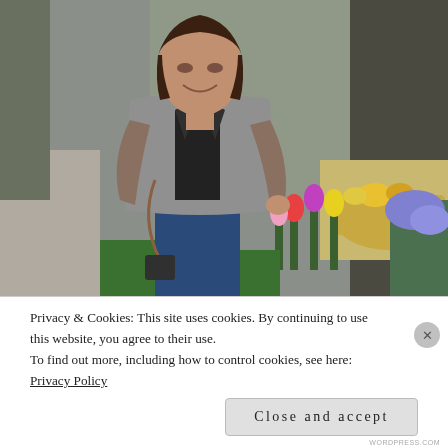[Figure (photo): A woman in a gray plaid blazer and jeans smiling at a flower stand on an urban sidewalk. Colorful tulips, sunflowers, and other flowers are visible in the foreground. Wicker baskets with produce are in the background near a shop entrance.]
Privacy & Cookies: This site uses cookies. By continuing to use this website, you agree to their use.
To find out more, including how to control cookies, see here: Privacy Policy
Close and accept